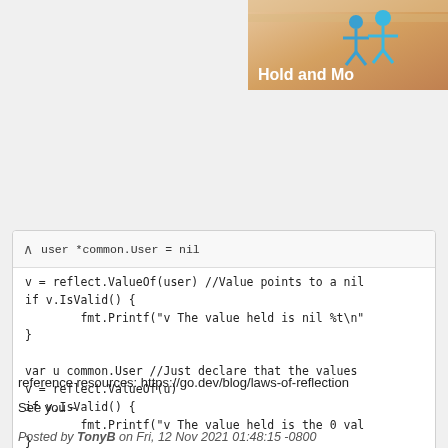[Figure (illustration): Partial banner image in top-right corner showing stylized blue figures (people) with text 'Hold and Mo' (truncated) in bold white, over a sandy/orange gradient background]
user *common.User = nil
v = reflect.ValueOf(user) //Value points to a nil
if v.IsValid() {
        fmt.Printf("v The value held is nil %t\n"
}

var u common.User //Just declare that the values
v = reflect.ValueOf(u)
if v.IsValid() {
        fmt.Printf("v The value held is the 0 val
}
reference resources: https://go.dev/blog/laws-of-reflection
See you ~
Posted by TonyB on Fri, 12 Nov 2021 01:48:15 -0800